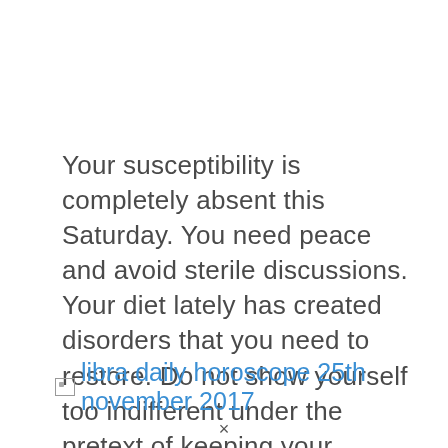Your susceptibility is completely absent this Saturday. You need peace and avoid sterile discussions. Your diet lately has created disorders that you need to restore. Do not show yourself too indifferent under the pretext of keeping your positions to their proper proportion, it isolates you from others.
[Figure (other): Broken image placeholder followed by hyperlink text: libra daily horoscope 25th november 2017]